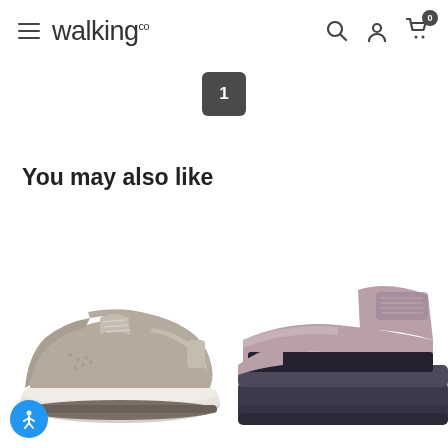walkingco
1
You may also like
[Figure (photo): A taupe/tan lace-up walking sneaker with perforated details, chunky white sole, and cushioned collar, shown from a 3/4 angle.]
[Figure (photo): A mauve/dusty pink open-toe sandal with velcro strap and dark navy footbed, shown from a 3/4 angle, partially cropped.]